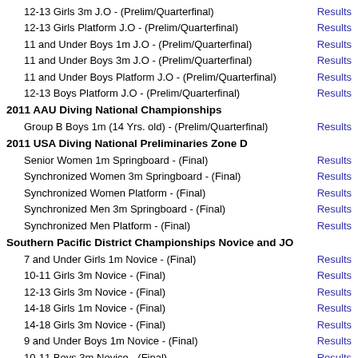12-13 Girls 3m J.O - (Prelim/Quarterfinal)
12-13 Girls Platform J.O - (Prelim/Quarterfinal)
11 and Under Boys 1m J.O - (Prelim/Quarterfinal)
11 and Under Boys 3m J.O - (Prelim/Quarterfinal)
11 and Under Boys Platform J.O - (Prelim/Quarterfinal)
12-13 Boys Platform J.O - (Prelim/Quarterfinal)
2011 AAU Diving National Championships
Group B Boys 1m (14 Yrs. old) - (Prelim/Quarterfinal)
2011 USA Diving National Preliminaries Zone D
Senior Women 1m Springboard - (Final)
Synchronized Women 3m Springboard - (Final)
Synchronized Women Platform - (Final)
Synchronized Men 3m Springboard - (Final)
Synchronized Men Platform - (Final)
Southern Pacific District Championships Novice and JO
7 and Under Girls 1m Novice - (Final)
10-11 Girls 3m Novice - (Final)
12-13 Girls 3m Novice - (Final)
14-18 Girls 1m Novice - (Final)
14-18 Girls 3m Novice - (Final)
9 and Under Boys 1m Novice - (Final)
10-11 Boys 3m Novice - (Final)
12-13 Boys 3m Novice - (Final)
14-18 Boys 1m Novice - (Final)
Group E Girls 1m (9 and Under) - (Final)
Group D Girls 3m (11 and Under) - (Final)
Group C Girls 3m (12-13) - (Final)
Group B Girls 1m (14-15) - (Final)